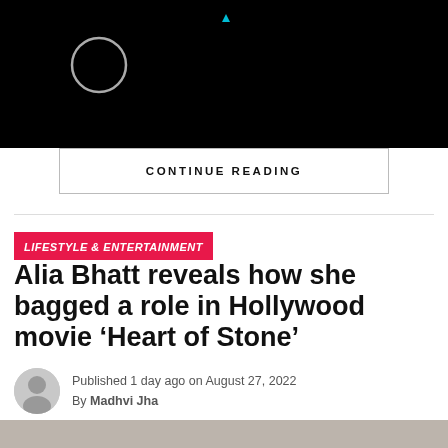[Figure (screenshot): Black banner with loading circle icon and play indicator at top]
CONTINUE READING
LIFESTYLE & ENTERTAINMENT
Alia Bhatt reveals how she bagged a role in Hollywood movie ‘Heart of Stone’
Published 1 day ago on August 27, 2022
By Madhvi Jha
[Figure (photo): Bottom portion of a photo, partially visible]